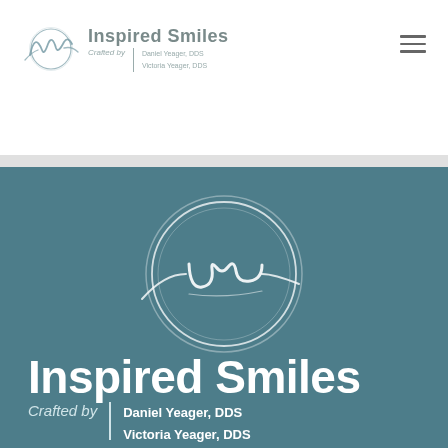[Figure (logo): Inspired Smiles logo — cursive 'is' monogram inside a hand-drawn circle, with text 'Inspired Smiles Crafted by Daniel Yeager, DDS / Victoria Yeager, DDS' in header]
[Figure (logo): Large Inspired Smiles logo on teal background — white cursive 'is' monogram inside circle, with bold white text 'Inspired Smiles' and 'Crafted by | Daniel Yeager, DDS / Victoria Yeager, DDS']